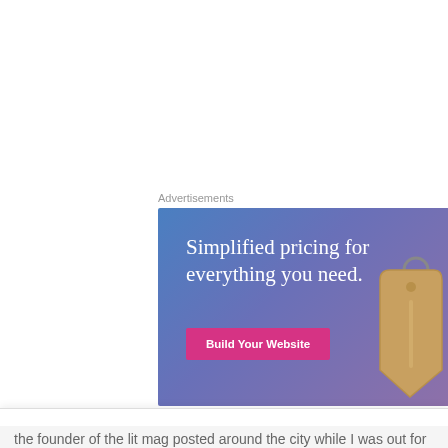Advertisements
[Figure (illustration): Advertisement banner with gradient blue-purple background, large white serif text reading 'Simplified pricing for everything you need.', a pink button labeled 'Build Your Website', and a 3D price tag graphic on the right side.]
Privacy & Cookies: This site uses cookies. By continuing to use this website, you agree to their use.
To find out more, including how to control cookies, see here: Cookie Policy
Close and accept
the founder of the lit mag posted around the city while I was out for a